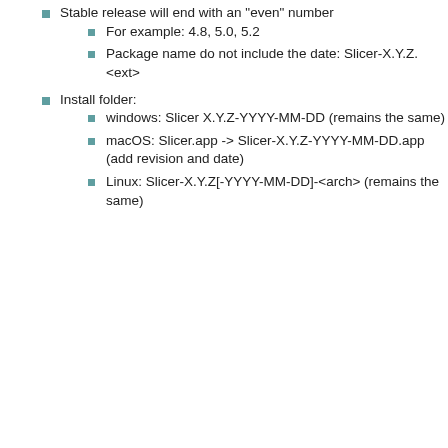Stable release will end with an "even" number
For example: 4.8, 5.0, 5.2
Package name do not include the date: Slicer-X.Y.Z.<ext>
Install folder:
windows: Slicer X.Y.Z-YYYY-MM-DD (remains the same)
macOS: Slicer.app -> Slicer-X.Y.Z-YYYY-MM-DD.app (add revision and date)
Linux: Slicer-X.Y.Z[-YYYY-MM-DD]-<arch> (remains the same)